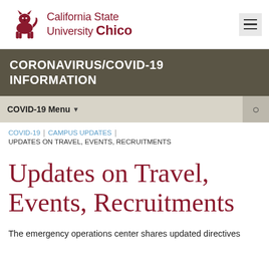[Figure (logo): California State University Chico logo with wildcat mascot and red text]
CORONAVIRUS/COVID-19 INFORMATION
COVID-19 Menu
COVID-19  |  CAMPUS UPDATES  |  UPDATES ON TRAVEL, EVENTS, RECRUITMENTS
Updates on Travel, Events, Recruitments
The emergency operations center shares updated directives